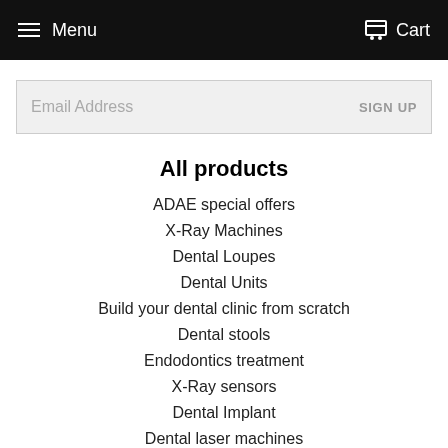Menu   Cart
Email Address   SIGN UP
All products
ADAE special offers
X-Ray Machines
Dental Loupes
Dental Units
Build your dental clinic from scratch
Dental stools
Endodontics treatment
X-Ray sensors
Dental Implant
Dental laser machines
Curing light devices